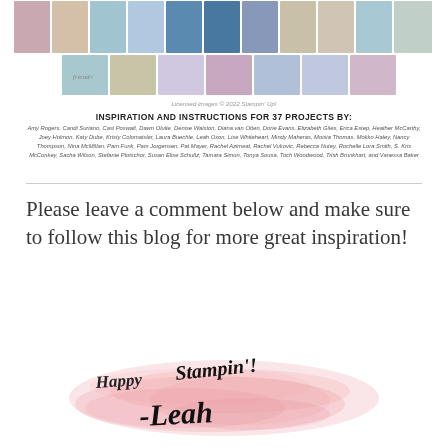[Figure (photo): Collage mosaic of crafting project photos arranged in two rows at the top of the page]
Licensed images © 2022 Stampin' Up!
INSPIRATION AND INSTRUCTIONS FOR 37 PROJECTS BY:
Amy Rogers, Candi Suriano, Casi Poswalt, Dawn Oluite, Denise Walston, Diana van Otten, Dorie Evans, Elizabeth Giles, Erica Estep, Heather McCarthy, Joey Holmon, Katy Dube, Kristy Colomaisler, Laura Buechle, Leah Oxon, Lise Whiteheart, Mindy Maheras, Moisia Thomas, Mokko Haley, Nancy Thompson, Nina McMillan, Pam Funk, Pam Jorgensen, Pat Mayer, Rachel Azimeal, Rachel Vukovic, Rebecca Nutey, Rochelle Lora Smith, S. Kris McConkey, Sacha Wilson, Stefanie Plotschor, Susan Elise Schultz, Tamara Simon, Tonya Sousa, Toch Woodwood, Trish Brunkhart, and Vanessa Baker
Please leave a comment below and make sure to follow this blog for more great inspiration!
[Figure (illustration): Pink watercolor brush stroke with cursive signature text reading 'Happy Stampin'! -Leah']